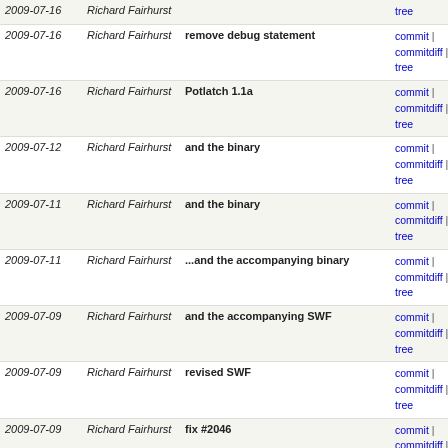| Date | Author | Message | Links |
| --- | --- | --- | --- |
| 2009-07-16 | Richard Fairhurst |  | tree |
| 2009-07-16 | Richard Fairhurst | remove debug statement | commit | commitdiff | tree |
| 2009-07-16 | Richard Fairhurst | Potlatch 1.1a | commit | commitdiff | tree |
| 2009-07-12 | Richard Fairhurst | and the binary | commit | commitdiff | tree |
| 2009-07-11 | Richard Fairhurst | and the binary | commit | commitdiff | tree |
| 2009-07-11 | Richard Fairhurst | ...and the accompanying binary | commit | commitdiff | tree |
| 2009-07-09 | Richard Fairhurst | and the accompanying SWF | commit | commitdiff | tree |
| 2009-07-09 | Richard Fairhurst | revised SWF | commit | commitdiff | tree |
| 2009-07-09 | Richard Fairhurst | fix #2046 | commit | commitdiff | tree |
| 2009-07-08 | Richard Fairhurst | "list mode" should really be "live mode" :) | commit | commitdiff | tree |
| 2009-07-08 | Richard Fairhurst | Potlatch 1.1 (server code) | commit | commitdiff | tree |
| 2009-06-10 | Richard Fairhurst | yay, I found the "negative ID in putway" bug | commit | commitdiff | tree |
| 2009-06-08 | Richard Fairhurst | potential fix for issue encountered on talk | commit | commitdiff | tree |
| 2009-06-07 | Richard Fairhurst | try reestablishing NetConnection on retry, and trap | commit | commitdiff | tree |